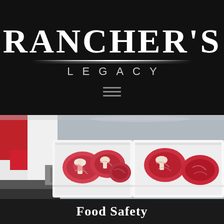[Figure (logo): Rancher's Legacy logo — large white serif text 'RANCHER'S' above decorative horizontal divider lines, with 'LEGACY' in spaced uppercase below, all on black background]
[Figure (photo): A butcher in red gloves and white apron handling large cuts of premium marbled beef steaks in white plastic tubs in a commercial meat processing facility]
Food Safety